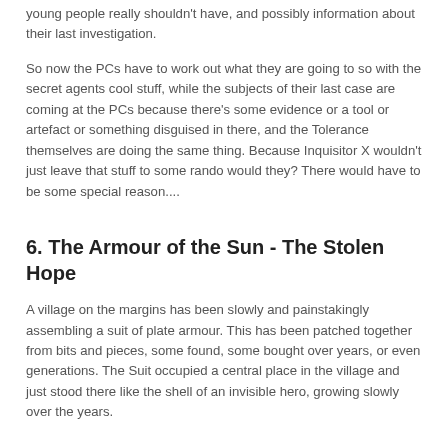young people really shouldn't have, and possibly information about their last investigation.
So now the PCs have to work out what they are going to so with the secret agents cool stuff, while the subjects of their last case are coming at the PCs because there's some evidence or a tool or artefact or something disguised in there, and the Tolerance themselves are doing the same thing. Because Inquisitor X wouldn't just leave that stuff to some rando would they? There would have to be some special reason....
6. The Armour of the Sun - The Stolen Hope
A village on the margins has been slowly and painstakingly assembling a suit of plate armour. This has been patched together from bits and pieces, some found, some bought over years, or even generations. The Suit occupied a central place in the village and just stood there like the shell of an invisible hero, growing slowly over the years.